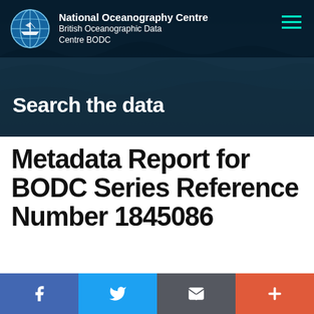[Figure (screenshot): Header banner with ocean wave background showing National Oceanography Centre / British Oceanographic Data Centre BODC logo and globe icon on dark overlay, with teal hamburger menu icon top right, and 'Search the data' text in white at bottom left]
Metadata Report for BODC Series Reference Number 1845086
[Figure (infographic): Footer bar with four social/share buttons: Facebook (blue), Twitter (light blue), Email (dark grey), Plus/More (orange-red)]